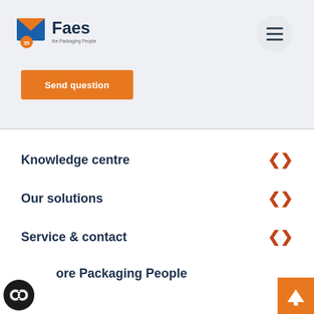[Figure (logo): Faes - The Packaging People logo with orange envelope icon and 35 year badge]
[Figure (other): Hamburger menu button - circular grey button with three horizontal lines]
Send question
Knowledge centre
Our solutions
Service & contact
ore Packaging People
[Figure (other): Orange back-to-top button with upward arrow]
[Figure (other): Black circular cookie/chat icon]